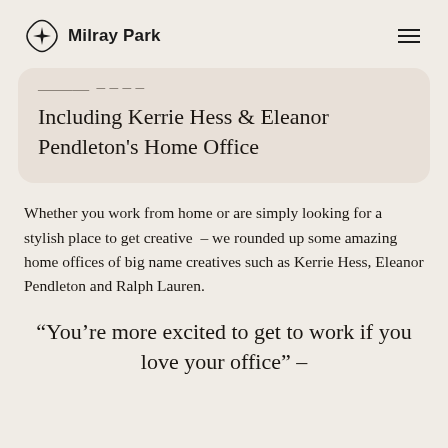Milray Park
Including Kerrie Hess & Eleanor Pendleton's Home Office
Whether you work from home or are simply looking for a stylish place to get creative – we rounded up some amazing home offices of big name creatives such as Kerrie Hess, Eleanor Pendleton and Ralph Lauren.
“You’re more excited to get to work if you love your office” –